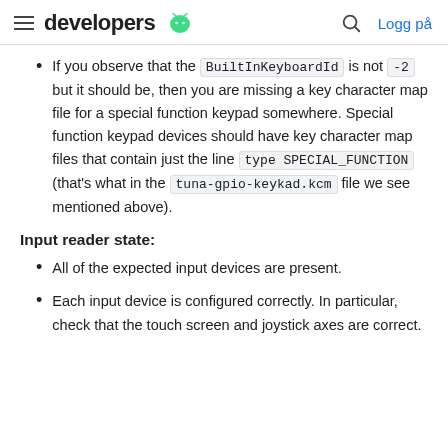developers [android logo] | [search] Logg på
If you observe that the BuiltInKeyboardId is not -2 but it should be, then you are missing a key character map file for a special function keypad somewhere. Special function keypad devices should have key character map files that contain just the line type SPECIAL_FUNCTION (that's what in the tuna-gpio-keykad.kcm file we see mentioned above).
Input reader state:
All of the expected input devices are present.
Each input device is configured correctly. In particular, check that the touch screen and joystick axes are correct.